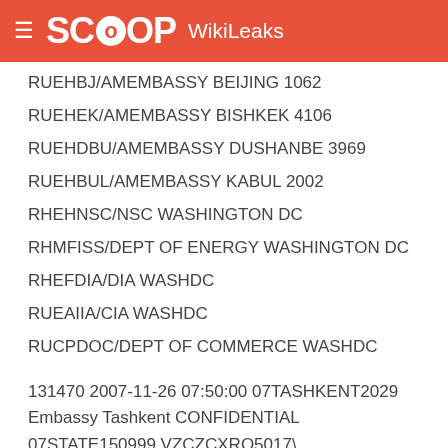SCOOP WikiLeaks
RUEHBJ/AMEMBASSY BEIJING 1062
RUEHEK/AMEMBASSY BISHKEK 4106
RUEHDBU/AMEMBASSY DUSHANBE 3969
RUEHBUL/AMEMBASSY KABUL 2002
RHEHNSC/NSC WASHINGTON DC
RHMFISS/DEPT OF ENERGY WASHINGTON DC
RHEFDIA/DIA WASHDC
RUEAIIA/CIA WASHDC
RUCPDOC/DEPT OF COMMERCE WASHDC
131470 2007-11-26 07:50:00 07TASHKENT2029 Embassy Tashkent CONFIDENTIAL 07STATE150999 VZCZCXRO5017\